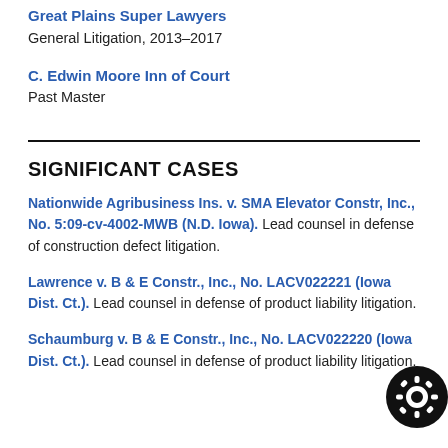Great Plains Super Lawyers
General Litigation, 2013–2017
C. Edwin Moore Inn of Court
Past Master
SIGNIFICANT CASES
Nationwide Agribusiness Ins. v. SMA Elevator Constr, Inc., No. 5:09-cv-4002-MWB (N.D. Iowa). Lead counsel in defense of construction defect litigation.
Lawrence v. B & E Constr., Inc., No. LACV022221 (Iowa Dist. Ct.). Lead counsel in defense of product liability litigation.
Schaumburg v. B & E Constr., Inc., No. LACV022220 (Iowa Dist. Ct.). Lead counsel in defense of product liability litigation.